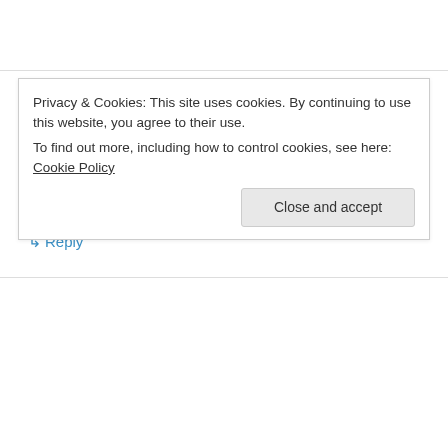sylivia aryasiima on May 28, 2015 at 11:52 pm
I love you guys..all along from Uganda…keep the heart and be blessed abundantly….in name ov Jesus..amen
↳ Reply
Privacy & Cookies: This site uses cookies. By continuing to use this website, you agree to their use. To find out more, including how to control cookies, see here: Cookie Policy